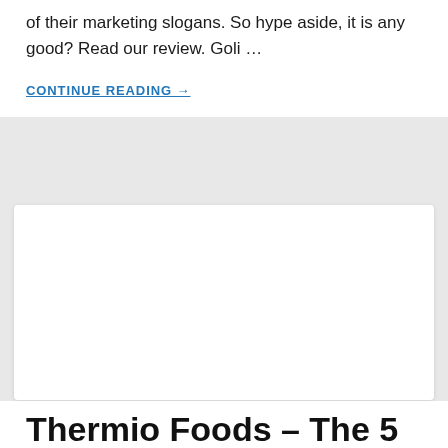of their marketing slogans. So hype aside, it is any good? Read our review. Goli …
CONTINUE READING →
[Figure (other): White card/image placeholder area]
Thermio Foods – The 5